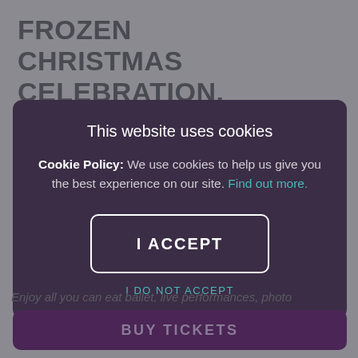FROZEN CHRISTMAS CELEBRATION.
This website uses cookies
Cookie Policy: We use cookies to help us give you the best experience on our site. Find out more.
I ACCEPT
I DO NOT ACCEPT
Enjoy all you can eat ballet, live performances, photo
BUY TICKETS